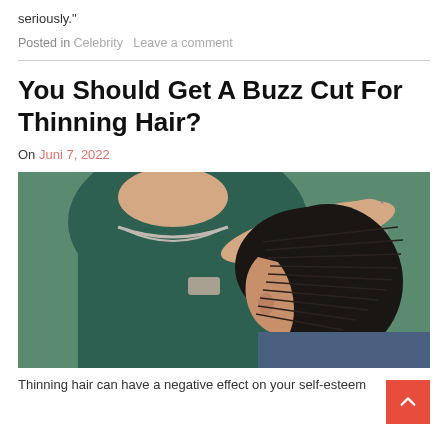seriously."
Posted in Celebrity   Leave a comment
You Should Get A Buzz Cut For Thinning Hair?
On Juni 7, 2022
[Figure (photo): A hairdresser in a dark green top and silver bracelet cutting the short dark hair of a seated client, viewed from the side. The hairdresser holds scissors and styles the bob haircut.]
Thinning hair can have a negative effect on your self-esteem